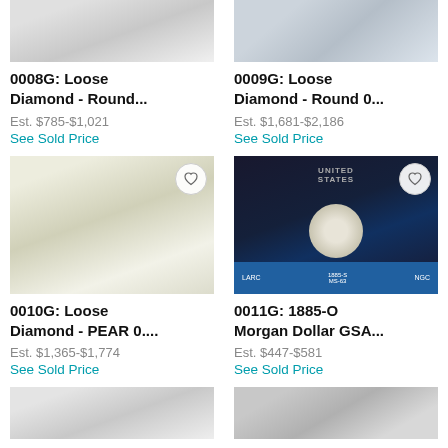[Figure (photo): Loose round diamond - top portion visible, grey/white background]
[Figure (photo): Loose round diamond - top portion visible, blue-grey background]
0008G: Loose Diamond - Round...
Est. $785-$1,021
See Sold Price
0009G: Loose Diamond - Round 0...
Est. $1,681-$2,186
See Sold Price
[Figure (photo): Loose pear-shaped diamond on light background with heart/favorite button]
[Figure (photo): 1885-O Morgan Dollar GSA in NGC slab case with heart/favorite button]
0010G: Loose Diamond - PEAR 0....
Est. $1,365-$1,774
See Sold Price
0011G: 1885-O Morgan Dollar GSA...
Est. $447-$581
See Sold Price
[Figure (photo): Bottom partial photo of diamond]
[Figure (photo): Bottom partial photo of coin]